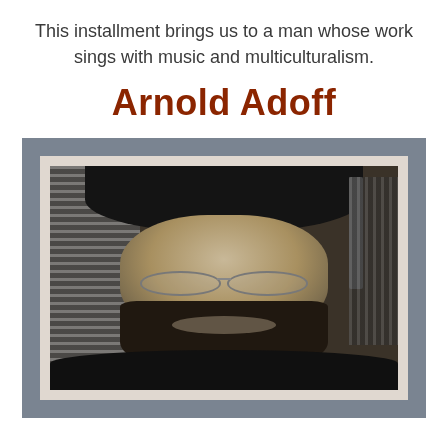This installment brings us to a man whose work sings with music and multiculturalism.
Arnold Adoff
[Figure (photo): Black and white portrait photograph of Arnold Adoff, a bearded man wearing glasses and a dark cap, smiling, with venetian blinds visible in the background.]